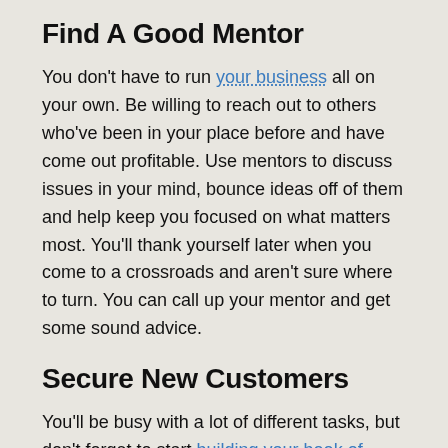Find A Good Mentor
You don't have to run your business all on your own. Be willing to reach out to others who've been in your place before and have come out profitable. Use mentors to discuss issues in your mind, bounce ideas off of them and help keep you focused on what matters most. You'll thank yourself later when you come to a crossroads and aren't sure where to turn. You can call up your mentor and get some sound advice.
Secure New Customers
You'll be busy with a lot of different tasks, but don't forget to start building your book of business as soon as possible. You need to get your company and